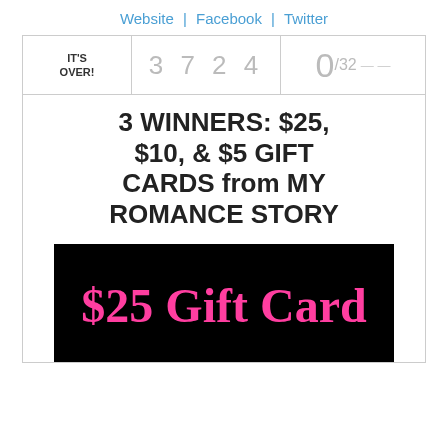Website | Facebook | Twitter
| IT'S OVER! | 3 7 2 4 | 0/32 |
| --- | --- | --- |
3 WINNERS: $25, $10, & $5 GIFT CARDS from MY ROMANCE STORY
[Figure (photo): Black background image with pink handwritten-style text reading '$25 Gift Card']